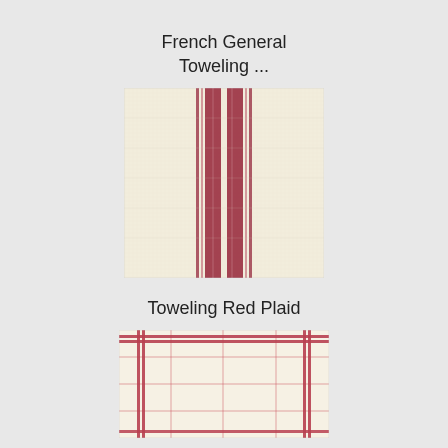French General Toweling ...
[Figure (illustration): Fabric swatch showing cream/off-white linen-like material with vertical red/burgundy stripes clustered in the center — a wide central stripe flanked by narrow stripes on each side, on a natural cream woven background.]
Toweling Red Plaid
[Figure (illustration): Fabric swatch showing off-white/cream material with a red plaid grid pattern — thin red lines forming a grid with two thicker double red stripes on left and right edges, creating a classic plaid toweling look.]